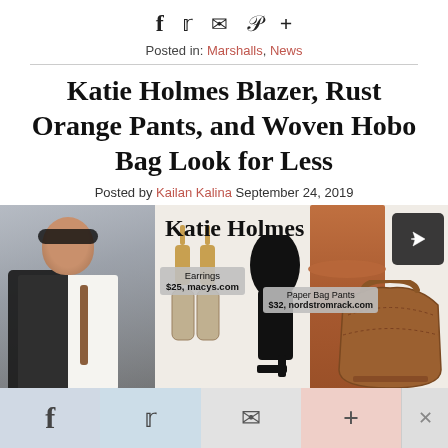f  𝕥  ✉  𝓟  +  (social share icons)
Posted in: Marshalls, News
Katie Holmes Blazer, Rust Orange Pants, and Woven Hobo Bag Look for Less
Posted by Kailan Kalina September 24, 2019
[Figure (photo): Photo collage: left shows Katie Holmes in sunglasses wearing a black blazer and white top with a brown bag; right panel shows earrings ($25, macys.com), black heels, rust orange paper bag pants ($32, nordstromrack.com), and a brown woven hobo bag, overlaid with 'Katie Holmes' text]
f  𝕥  ✉  +  ✕  (bottom share bar)